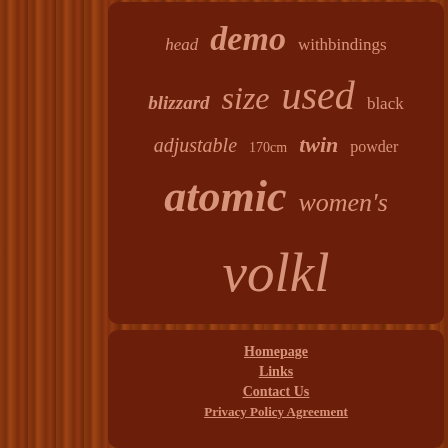[Figure (infographic): Tag cloud of ski-related keywords on dark brown background. Words include: head, demo, withbindings, blizzard, size, used, black, adjustable, 170cm, twin, powder, atomic, women's, volkl, skis, all-mountain, allmountain, salomon, carving, tyrolia, elan, snow, 177cm, 16-17, men's, dynastar, mountain, rocker]
Homepage
Links
Contact Us
Privacy Policy Agreement